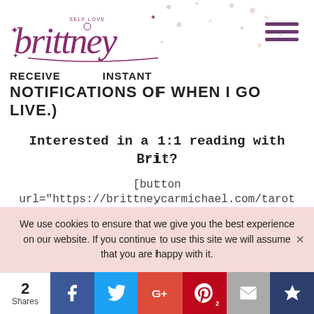[Figure (logo): Brittney self love logo in purple cursive script with stars]
RECEIVE                    INSTANT
NOTIFICATIONS OF WHEN I GO LIVE.)
Interested in a 1:1 reading with Brit?
[button url="https://brittneycarmichael.com/tarot MORE/button]
We use cookies to ensure that we give you the best experience on our website. If you continue to use this site we will assume that you are happy with it.
2 Shares